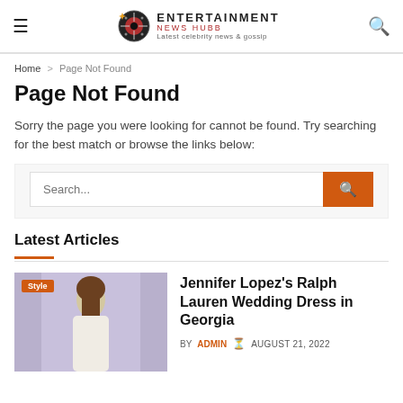ENTERTAINMENT NEWS HUBB Latest celebrity news & gossip
Home > Page Not Found
Page Not Found
Sorry the page you were looking for cannot be found. Try searching for the best match or browse the links below:
Latest Articles
Jennifer Lopez's Ralph Lauren Wedding Dress in Georgia BY ADMIN AUGUST 21, 2022